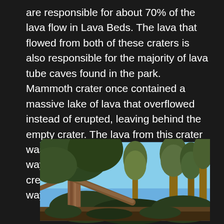are responsible for about 70% of the lava flow in Lava Beds. The lava that flowed from both of these craters is also responsible for the majority of lava tube caves found in the park. Mammoth crater once contained a massive lake of lava that overflowed instead of erupted, leaving behind the empty crater. The lava from this crater was highly fluid and traveled all the way to the northern part of the park, creating lava tube caves all along the way.
[Figure (photo): Photograph of trees including conifers/pines in an outdoor setting with a blue sky, appears to be taken at Lava Beds National Monument.]